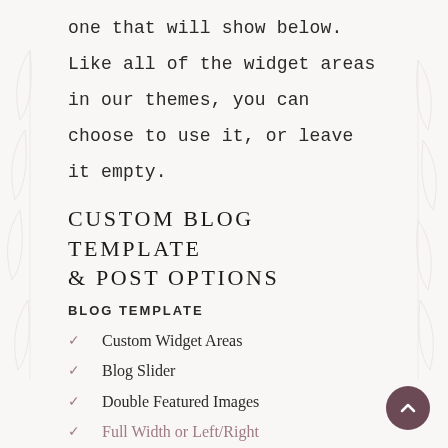one that will show below. Like all of the widget areas in our themes, you can choose to use it, or leave it empty.
CUSTOM BLOG TEMPLATE & POST OPTIONS
BLOG TEMPLATE
✓  Custom Widget Areas
✓  Blog Slider
✓  Double Featured Images
✓  Full Width or Left/Right Sidebar